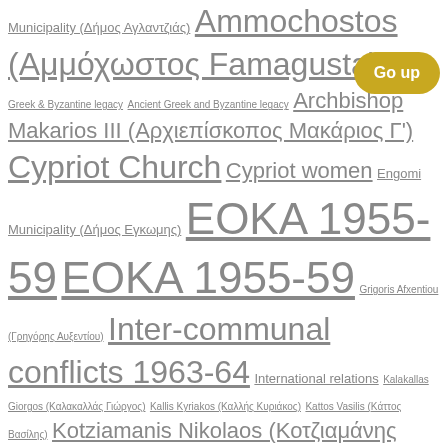Municipality (Δήμος Αγλαντζιάς) Ammochostos (Αμμόχωστος Famagusta) Ancient Greek & Byzantine legacy Ancient Greek and Byzantine legacy Archbishop Makarios III (Αρχιεπίσκοπος Μακάριος Γ') Cypriot Church Cypriot women Engomi Municipality (Δήμος Εγκωμης) ΕΟΚΑ 1955-59 ΕΟΚΑ 1955-59 Grigoris Afxentiou (Γρηγόρης Αυξεντίου) Inter-communal conflicts 1963-64 International relations Kalakallas Giorgos (Καλακαλλάς Γιώργος) Kallis Kyriakos (Καλλής Κυριάκος) Kattos Vasilis (Κάττος Βασίλης) Kotziamanis Nikolaos (Κοτζιαμάνης Νικόλαος) Kouroussis Nikos (Κουρούσης Νίκος) Kyriacou George (Κυριάκου Γιώργος) Larnaka district (Επαρχία Λάρνακας) Larnaka Municipality (Δήμος Λάρνακας) Limassol district (Επαρχία Λεμεσού) Limassol Municipality (Δήμος Λεμεσού) Modern Sculpture National Guard Nicosia district (Επαρχία Λευκωσίας) Nicosia Municipality